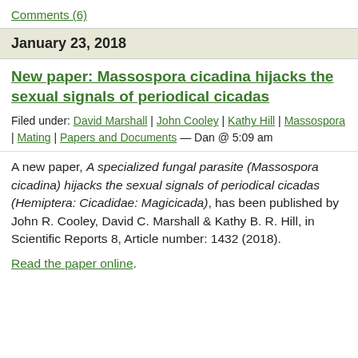Comments (6)
January 23, 2018
New paper: Massospora cicadina hijacks the sexual signals of periodical cicadas
Filed under: David Marshall | John Cooley | Kathy Hill | Massospora | Mating | Papers and Documents — Dan @ 5:09 am
A new paper, A specialized fungal parasite (Massospora cicadina) hijacks the sexual signals of periodical cicadas (Hemiptera: Cicadidae: Magicicada), has been published by John R. Cooley, David C. Marshall & Kathy B. R. Hill, in Scientific Reports 8, Article number: 1432 (2018).
Read the paper online.